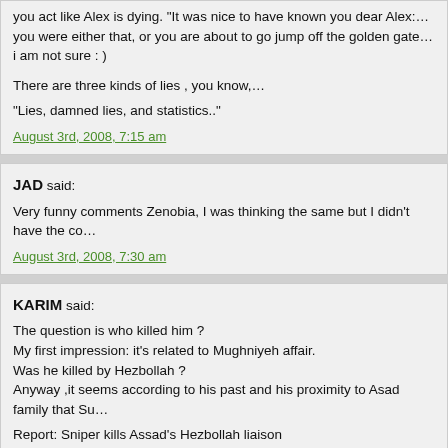you act like Alex is dying. "It was nice to have known you dear Alex..." you were either that, or you are about to go jump off the golden gate...i am not sure : )
There are three kinds of lies , you know,...
“Lies, damned lies, and statistics..”
August 3rd, 2008, 7:15 am
JAD said:
Very funny comments Zenobia, I was thinking the same but I didn’t have the co…
August 3rd, 2008, 7:30 am
KARIM said:
The question is who killed him ?
My first impression: it’s related to Mughniyeh affair.
Was he killed by Hezbollah ?
Anyway ,it seems according to his past and his proximity to Asad family that Su…
Report: Sniper kills Assad’s Hezbollah liaison
By Haaretz Service
Tags: Assad, Israel, Hezbollah
Israel Radio on Sunday quoted Arab press reports as saying that Senior source… guerilla group was assassinated on Friday.
The sources said that General Mohammed Suleiman was shot dead by a snipe…
According to the Syrian newspaper Albawaba, the sources told another Arabic-l… prevent the publication of the news regarding Suleiman’s assassination.
Albawaba stated that no organization has claimed responsibility for the killing as…